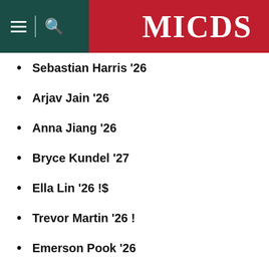MICDS
Sebastian Harris '26
Arjav Jain '26
Anna Jiang '26
Bryce Kundel '27
Ella Lin '26 !$
Trevor Martin '26 !
Emerson Pook '26
Siva Ram '27 ~
Gabriel Sedighi '26